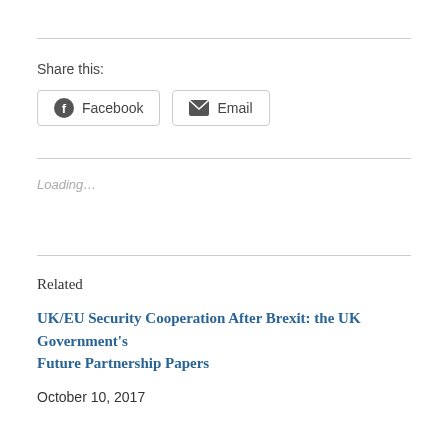Share this:
Facebook   Email
Loading...
Related
UK/EU Security Cooperation After Brexit: the UK Government's Future Partnership Papers
October 10, 2017